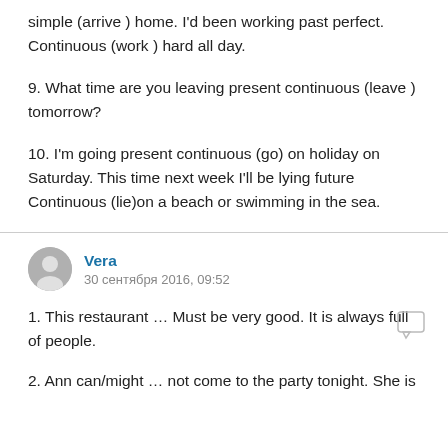simple (arrive ) home. I'd been working past perfect. Continuous (work ) hard all day.
9. What time are you leaving present continuous (leave ) tomorrow?
10. I'm going present continuous (go) on holiday on Saturday. This time next week I'll be lying future Continuous (lie)on a beach or swimming in the sea.
Vera
30 сентября 2016, 09:52
1. This restaurant … Must be very good. It is always full of people.
2. Ann can/might … not come to the party tonight. She is